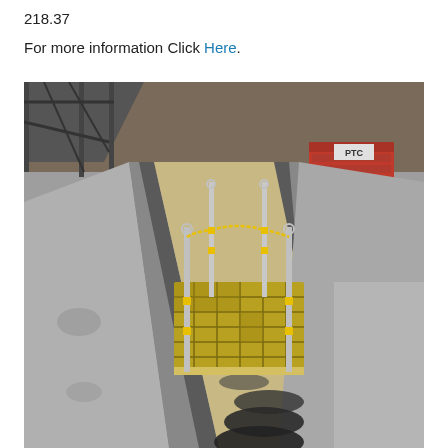218.37
For more information Click Here.
[Figure (photo): Industrial facility interior showing a rail pit or trench with safety bollards (silver poles with yellow bands) connected by yellow chains, a yellow anti-fatigue/grating mat placed over part of the trench, sandy/dirty floor in the pit, concrete floor surroundings, a red PTC tool chest cabinet in the background, overhead crane structure visible at upper left, and green painted markings on the floor to the right.]